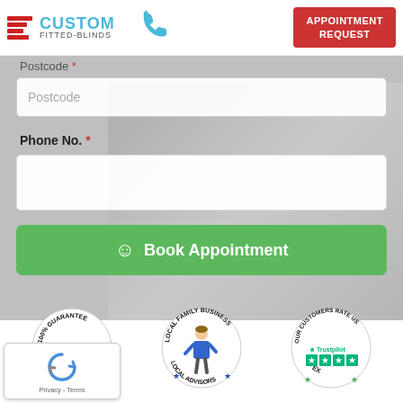[Figure (logo): Custom Fitted-Blinds logo with red horizontal stripes and blue company name, plus blue phone icon and red Appointment Request button]
Postcode *
[Figure (screenshot): Postcode input field with placeholder text 'Postcode']
Phone No. *
[Figure (screenshot): Phone number input field (empty white box)]
[Figure (screenshot): Green Book Appointment button with smiley face icon]
[Figure (illustration): Three circular badges: 100% Guarantee Peace of Mind (red/blue stars), Local Family Business Local Advisors (illustrated person), Our Customers Rate Us Excellent Trustpilot 5-stars]
[Figure (other): reCAPTCHA widget with Privacy and Terms links]